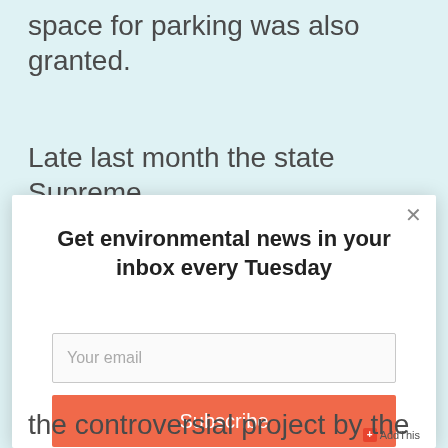additional 116 boat slips. Additional space for parking was also granted.
Late last month the state Supreme
[Figure (screenshot): Email newsletter subscription modal dialog with title 'Get environmental news in your inbox every Tuesday', an email input field with placeholder 'Your email', and an orange 'Subscribe' button. Modal has a close (×) button in top right corner. AddThis badge visible in bottom right corner.]
the controversial project by the